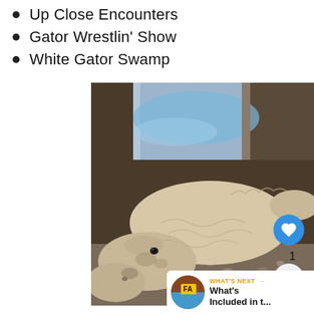Up Close Encounters
Gator Wrestlin' Show
White Gator Swamp
[Figure (photo): A white/albino alligator resting on gravel inside a glass enclosure, viewed from above and slightly to the side. The alligator has pale cream-colored skin with some darker markings on its head and snout. Blue water or background visible through glass behind it.]